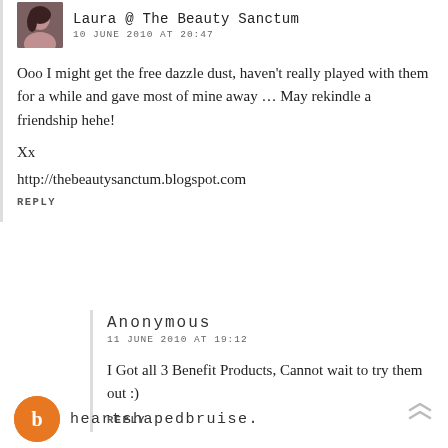Laura @ The Beauty Sanctum
10 JUNE 2010 AT 20:47
Ooo I might get the free dazzle dust, haven't really played with them for a while and gave most of mine away … May rekindle a friendship hehe!
Xx
http://thebeautysanctum.blogspot.com
REPLY
Anonymous
11 JUNE 2010 AT 19:12
I Got all 3 Benefit Products, Cannot wait to try them out :)
REPLY
heartshapedbruise.